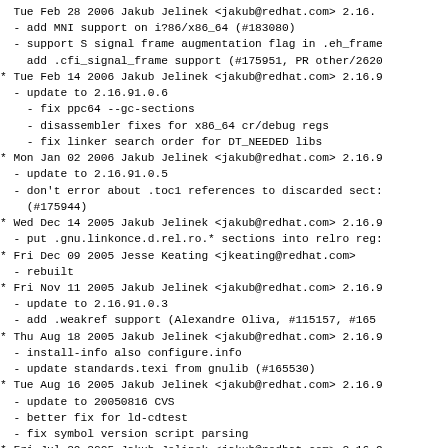Tue Feb 28 2006 Jakub Jelinek <jakub@redhat.com> 2.16.
  - add MNI support on i?86/x86_64 (#183080)
  - support S signal frame augmentation flag in .eh_frame
    add .cfi_signal_frame support (#175951, PR other/2620
Tue Feb 14 2006 Jakub Jelinek <jakub@redhat.com> 2.16.9
  - update to 2.16.91.0.6
    - fix ppc64 --gc-sections
    - disassembler fixes for x86_64 cr/debug regs
    - fix linker search order for DT_NEEDED libs
Mon Jan 02 2006 Jakub Jelinek <jakub@redhat.com> 2.16.9
  - update to 2.16.91.0.5
  - don't error about .toc1 references to discarded sect:
    (#175944)
Wed Dec 14 2005 Jakub Jelinek <jakub@redhat.com> 2.16.9
  - put .gnu.linkonce.d.rel.ro.* sections into relro reg:
Fri Dec 09 2005 Jesse Keating <jkeating@redhat.com>
  - rebuilt
Fri Nov 11 2005 Jakub Jelinek <jakub@redhat.com> 2.16.9
  - update to 2.16.91.0.3
  - add .weakref support (Alexandre Oliva, #115157, #165
Thu Aug 18 2005 Jakub Jelinek <jakub@redhat.com> 2.16.9
  - install-info also configure.info
  - update standards.texi from gnulib (#165530)
Tue Aug 16 2005 Jakub Jelinek <jakub@redhat.com> 2.16.9
  - update to 20050816 CVS
  - better fix for ld-cdtest
  - fix symbol version script parsing
Fri Jul 29 2005 Jakub Jelinek <jakub@redhat.com> 2.16.9
  - don't complain about relocs to discarded sections in
    .got2 sections (Alan Modra, PR target/17828)
Fri Jul 22 2005 Jakub Jelinek <jakub@redhat.com> 2.16.